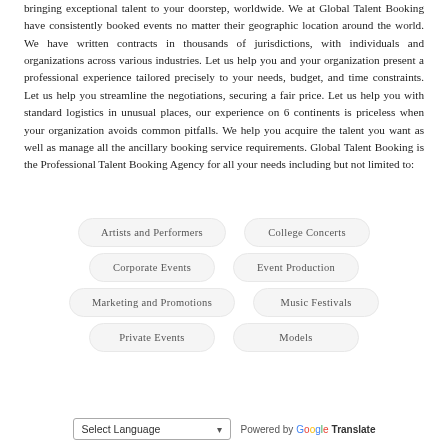bringing exceptional talent to your doorstep, worldwide. We at Global Talent Booking have consistently booked events no matter their geographic location around the world. We have written contracts in thousands of jurisdictions, with individuals and organizations across various industries. Let us help you and your organization present a professional experience tailored precisely to your needs, budget, and time constraints. Let us help you streamline the negotiations, securing a fair price. Let us help you with standard logistics in unusual places, our experience on 6 continents is priceless when your organization avoids common pitfalls. We help you acquire the talent you want as well as manage all the ancillary booking service requirements. Global Talent Booking is the Professional Talent Booking Agency for all your needs including but not limited to:
Artists and Performers
College Concerts
Corporate Events
Event Production
Marketing and Promotions
Music Festivals
Private Events
Models
Select Language  Powered by Google Translate